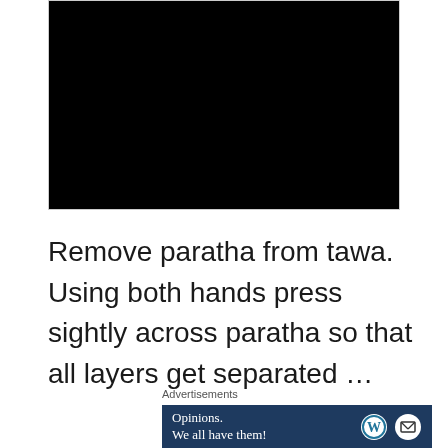[Figure (photo): Dark/black photograph, likely showing a cooking scene on a tawa (griddle), mostly obscured in darkness]
Remove paratha from tawa. Using both hands press sightly across paratha so that all layers get separated …
Advertisements
[Figure (screenshot): WordPress advertisement banner with text 'Opinions. We all have them!' and WordPress and Daily Post logos on dark blue background]